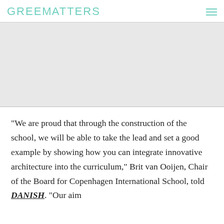GREENMATTERS
[Figure (photo): Large image area (photo placeholder, appears blank/grey)]
“We are proud that through the construction of the school, we will be able to take the lead and set a good example by showing how you can integrate innovative architecture into the curriculum,” Brit van Ooijen, Chair of the Board for Copenhagen International School, told DANISH. “Our aim